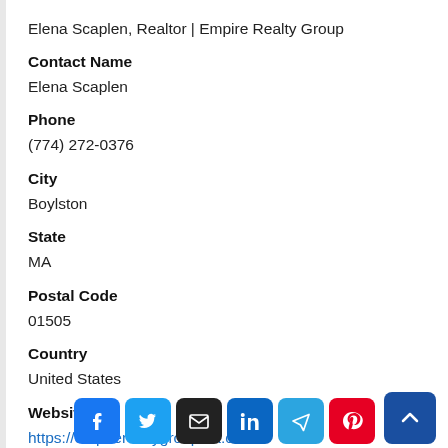Elena Scaplen, Realtor | Empire Realty Group
Contact Name
Elena Scaplen
Phone
(774) 272-0376
City
Boylston
State
MA
Postal Code
01505
Country
United States
Website
https://empirerealtygroupma.com/